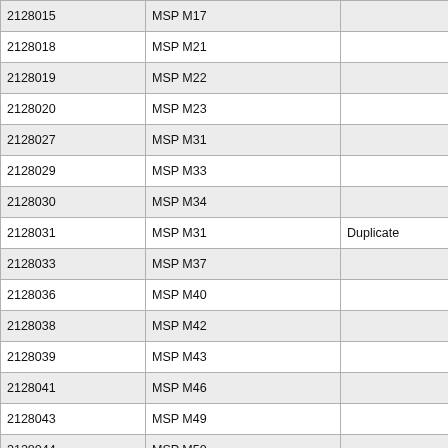| RID | Unit | Notes |
| --- | --- | --- |
| 2128015 | MSP M17 |  |
| 2128018 | MSP M21 |  |
| 2128019 | MSP M22 |  |
| 2128020 | MSP M23 |  |
| 2128027 | MSP M31 |  |
| 2128029 | MSP M33 |  |
| 2128030 | MSP M34 |  |
| 2128031 | MSP M31 | Duplicate |
| 2128033 | MSP M37 |  |
| 2128036 | MSP M40 |  |
| 2128038 | MSP M42 |  |
| 2128039 | MSP M43 |  |
| 2128041 | MSP M46 |  |
| 2128043 | MSP M49 |  |
| 2128044 | MSP M50 |  |
| 2128047 | MSP M42 | Duplicate |
| 2128059 | MSP M11 |  |
| Unknown |  |  |
| 2118099 | MDTA/MSP CP2 | Unknown JFK User |
Central Troop (CE)
| RID | Unit | Notes |
| --- | --- | --- |
| Communications |  |  |